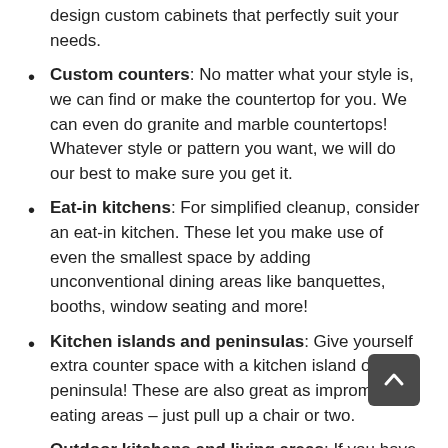design custom cabinets that perfectly suit your needs.
Custom counters: No matter what your style is, we can find or make the countertop for you. We can even do granite and marble countertops! Whatever style or pattern you want, we will do our best to make sure you get it.
Eat-in kitchens: For simplified cleanup, consider an eat-in kitchen. These let you make use of even the smallest space by adding unconventional dining areas like banquettes, booths, window seating and more!
Kitchen islands and peninsulas: Give yourself extra counter space with a kitchen island or peninsula! These are also great as impromptu eating areas – just pull up a chair or two.
Outdoor kitchens and living areas: If you have a beautiful patio space, we can help you create a stunning outdoor kitchen that is great for entertaining. Take advantage of your outdoor area and enjoy the beautiful views while you enjoy al fresco dining or hosting gatherings with family and friends!